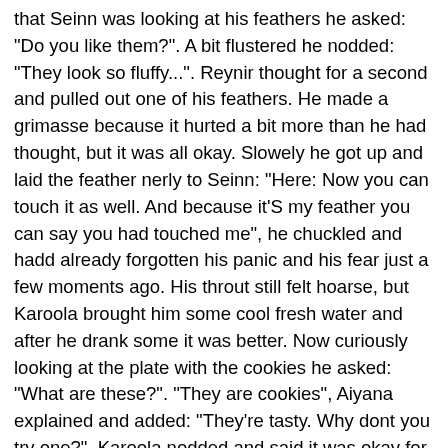that Seinn was looking at his feathers he asked: "Do you like them?". A bit flustered he nodded: "They look so fluffy...". Reynir thought for a second and pulled out one of his feathers. He made a grimasse because it hurted a bit more than he had thought, but it was all okay. Slowely he got up and laid the feather nerly to Seinn: "Here: Now you can touch it as well. And because it'S my feather you can say you had touched me", he chuckled and hadd already forgotten his panic and his fear just a few moments ago. His throut still felt hoarse, but Karoola brought him some cool fresh water and after he drank some it was better. Now curiously looking at the plate with the cookies he asked: "What are these?". "They are cookies", Aiyana explained and added: "They're tasty. Why dont you try one?". Karoola nodded and said it was okay for each of them to just took as many as they wanted. Astouned he looked closer at them and carefully took on in his peak. A bit shy he began to eat it, but after a second he looked surprised and said: "Thei're tasty!" and with a thankful look to Karoola he eat some more. After all he was really hungry. When they had eaten the cookies all together the eldest suggested that they should went back to the shore, because they couldn't see if Reyns parents where back or not dep down here. Reynir was a litle sad that he had to leave his newly